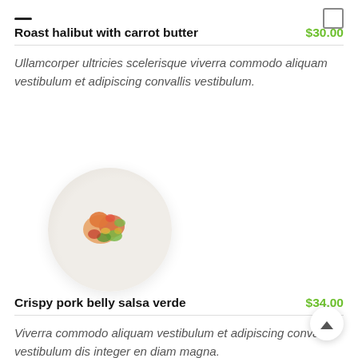Roast halibut with carrot butter $30.00
Ullamcorper ultricies scelerisque viverra commodo aliquam vestibulum et adipiscing convallis vestibulum.
[Figure (photo): A plate of food — colorful mixed vegetables on a white round plate, viewed from above, with a soft shadow.]
Crispy pork belly salsa verde $34.00
Viverra commodo aliquam vestibulum et adipiscing convallis vestibulum dis integer en diam magna.